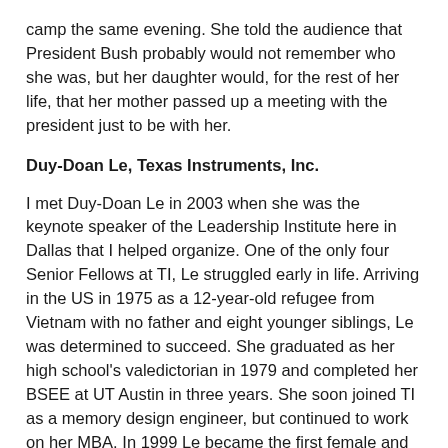camp the same evening. She told the audience that President Bush probably would not remember who she was, but her daughter would, for the rest of her life, that her mother passed up a meeting with the president just to be with her.
Duy-Doan Le, Texas Instruments, Inc.
I met Duy-Doan Le in 2003 when she was the keynote speaker of the Leadership Institute here in Dallas that I helped organize. One of the only four Senior Fellows at TI, Le struggled early in life. Arriving in the US in 1975 as a 12-year-old refugee from Vietnam with no father and eight younger siblings, Le was determined to succeed. She graduated as her high school's valedictorian in 1979 and completed her BSEE at UT Austin in three years. She soon joined TI as a memory design engineer, but continued to work on her MBA. In 1999 Le became the first female and the first Asian Senior Fellow at TI.